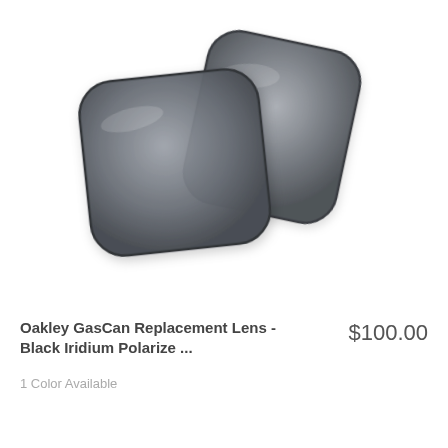[Figure (photo): Two dark grey/black polarized replacement lenses for Oakley GasCan sunglasses, overlapping each other on a white background. The lenses are rounded-rectangular shaped with a subtle grey tint.]
Oakley GasCan Replacement Lens - Black Iridium Polarize ...
$100.00
1 Color Available